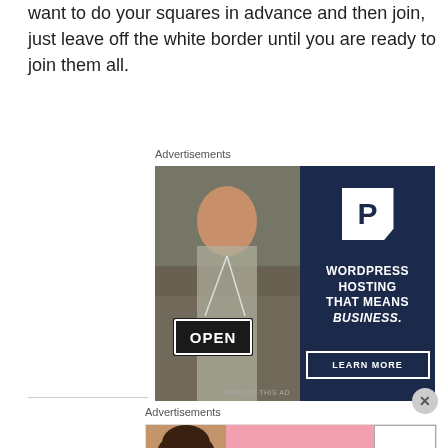want to do your squares in advance and then join, just leave off the white border until you are ready to join them all.
Advertisements
[Figure (photo): WordPress hosting advertisement showing a woman holding an OPEN sign on the left half (photo), and dark navy blue right half with a P logo, text 'WORDPRESS HOSTING THAT MEANS BUSINESS.' and a 'LEARN MORE' button.]
REPORT THIS AD
Advertisements
[Figure (photo): Victoria's Secret advertisement banner with a woman's photo on the left, pink center with VS logo and 'VICTORIA'S SECRET' text, 'SHOP THE COLLECTION' text, and 'SHOP NOW' white button on the right.]